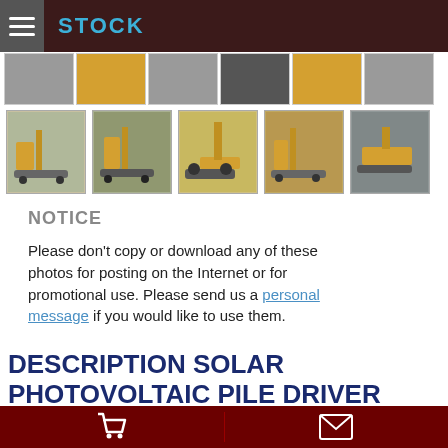STOCK
[Figure (photo): Row of thumbnail images of heavy construction/drilling equipment]
[Figure (photo): Second row of thumbnail images showing solar pile driver equipment in various views]
NOTICE
Please don't copy or download any of these photos for posting on the Internet or for promotional use. Please send us a personal message if you would like to use them.
DESCRIPTION SOLAR PHOTOVOLTAIC PILE DRIVER
NEW 1-4m Hydraulic Crawler Driven Solar Photovoltaic Energy Pile Driver
Drill Hole Diameter: 76-400mm